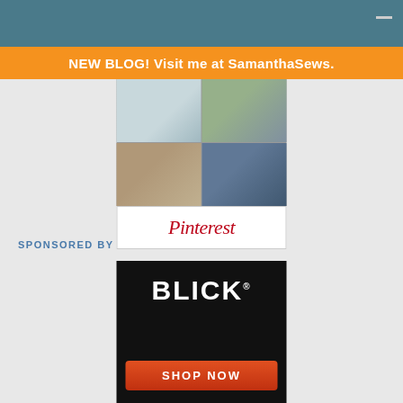[Figure (screenshot): Dark teal/blue header bar with a white dash/minimize icon on the right]
NEW BLOG! Visit me at SamanthaSews.
[Figure (screenshot): Pinterest widget showing a 2x2 grid of lifestyle photos (kitchen, room, shelf, jeans) with a Pinterest script-logo button below]
SPONSORED BY
[Figure (screenshot): Blick art supplies advertisement on black background with BLICK logo and orange SHOP NOW button]